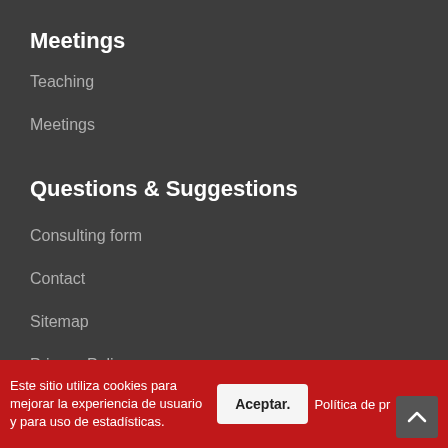Meetings
Teaching
Meetings
Questions & Suggestions
Consulting form
Contact
Sitemap
Privacy Policy
Este sitio utiliza cookies para mejorar la experiencia de usuario y para uso de estadísticas. Aceptar. Política de privacidad